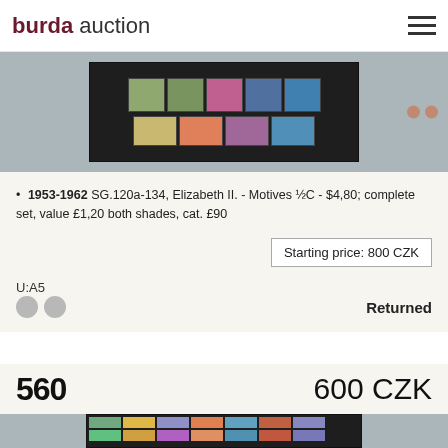burda auction
[Figure (photo): Stamps from 1953-1962 British Guiana Elizabeth II series displayed on dark background]
1953-1962 SG.120a-134, Elizabeth II. - Motives ½C - $4,80; complete set, value £1,20 both shades, cat. £90
Starting price: 800 CZK
U:A5
Returned
560    600 CZK
[Figure (photo): Stamps from second lot displayed on grey background]